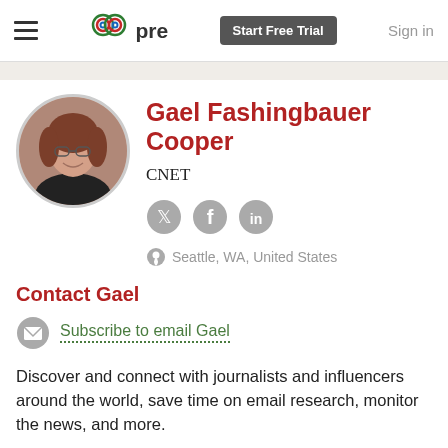≡  pre  Start Free Trial  Sign in
[Figure (photo): Circular profile photo of Gael Fashingbauer Cooper, a woman with brown hair and glasses, smiling]
Gael Fashingbauer Cooper
CNET
[Figure (infographic): Social media icons: Twitter, Facebook, LinkedIn]
Seattle, WA, United States
Contact Gael
Subscribe to email Gael
Discover and connect with journalists and influencers around the world, save time on email research, monitor the news, and more.